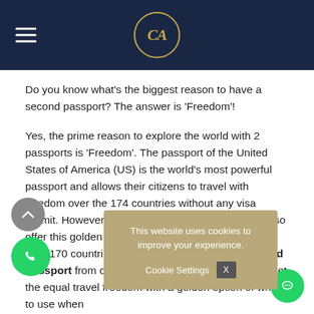Navigation header with logo
Do you know what's the biggest reason to have a second passport? The answer is 'Freedom'!
Yes, the prime reason to explore the world with 2 passports is 'Freedom'. The passport of the United States of America (US) is the world's most powerful passport and allows their citizens to travel with freedom over the 174 countries without any visa permit. However, some other wealthiest countries also offer this golden opportunity to travel freely to more than 170 countries. If you have the Power of Second Passport from one of these republics then you will get the equal travel freedom with a golden option of which to use when
This website uses cookies to improve your experience.
Cookie Settings  X